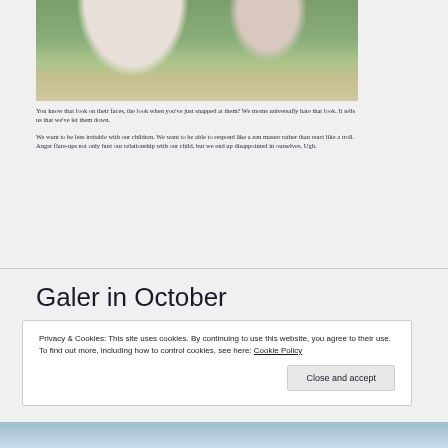[Figure (photo): A mother and toddler sitting outdoors on a patio/grass area. The mother is reaching out to the child who is sitting cross-legged facing her.]
You know that look on their faces, the look when you've just snapped at them? We moms universally hate that look. It tells us that we've let them down.
We want to be less irritable with our children. We want to be able to respond like a zen master rather than react like a troll. Anger flare-ups not only hurt our relationship with our child, but we end up disappointed in ourselves. Ugh.
Galer in October
Privacy & Cookies: This site uses cookies. By continuing to use this website, you agree to their use.
To find out more, including how to control cookies, see here: Cookie Policy
Close and accept